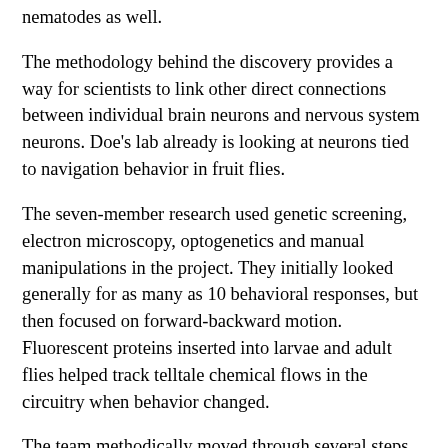nematodes as well.
The methodology behind the discovery provides a way for scientists to link other direct connections between individual brain neurons and nervous system neurons. Doe's lab already is looking at neurons tied to navigation behavior in fruit flies.
The seven-member research used genetic screening, electron microscopy, optogenetics and manual manipulations in the project. They initially looked generally for as many as 10 behavioral responses, but then focused on forward-backward motion. Fluorescent proteins inserted into larvae and adult flies helped track telltale chemical flows in the circuitry when behavior changed.
The team methodically moved through several steps to identify the two backward-inducing brain neurons, starting